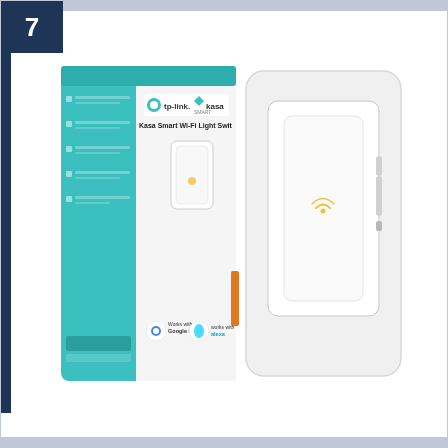7
[Figure (photo): Product photo of a TP-Link Kasa Smart Wi-Fi Light Switch. The image shows the product packaging box on the left (teal/white box with TP-Link and Kasa Smart logos, text reading 'Kasa Smart Wi-Fi Light Swit', and a Google Home compatible badge) and the physical white smart light switch device on the right with a Wi-Fi indicator LED.]